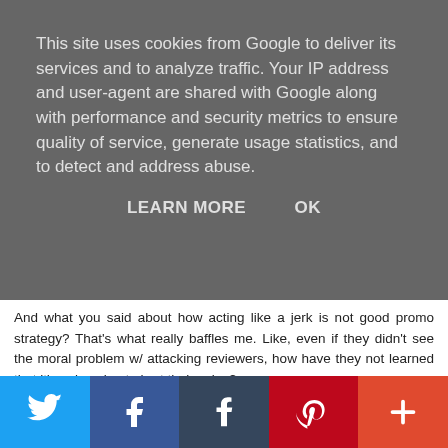This site uses cookies from Google to deliver its services and to analyze traffic. Your IP address and user-agent are shared with Google along with performance and security metrics to ensure quality of service, generate usage statistics, and to detect and address abuse.
LEARN MORE   OK
And what you said about how acting like a jerk is not good promo strategy? That's what really baffles me. Like, even if they didn't see the moral problem w/ attacking reviewers, how have they not learned that it's only going to hurt their sales?
There are a lot of great authors out there who accept criticism w/ grace. It's unfortunate that the few out there who don't are giving authors a bad rap and ruining things for everyone.
Reply
[Figure (infographic): Social share bar with Twitter, Facebook, Tumblr, Pinterest, and More (+) buttons]